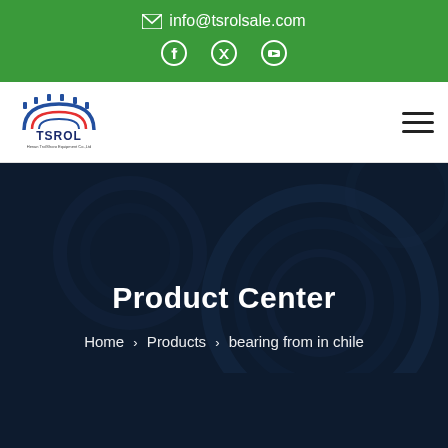info@tsrolsale.com
[Figure (logo): TSROL company logo with gear icon and text 'Henan Toshine Equipment Co.,Ltd']
Product Center
Home > Products > bearing from in chile